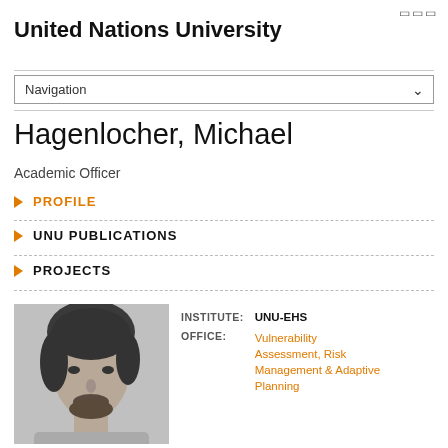United Nations University
Navigation
Hagenlocher, Michael
Academic Officer
▶ PROFILE
▶ UNU PUBLICATIONS
▶ PROJECTS
[Figure (photo): Black and white headshot photo of Michael Hagenlocher]
|  |  |
| --- | --- |
| INSTITUTE: | UNU-EHS |
| OFFICE: | Vulnerability Assessment, Risk Management & Adaptive Planning |